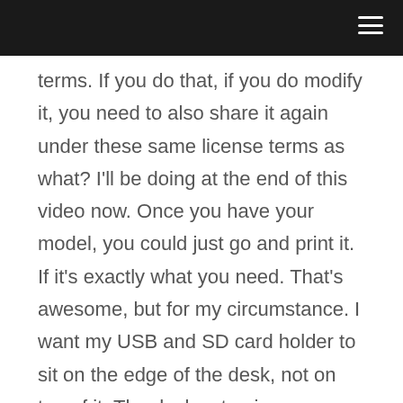terms. If you do that, if you do modify it, you need to also share it again under these same license terms as what? I'll be doing at the end of this video now. Once you have your model, you could just go and print it. If it's exactly what you need. That's awesome, but for my circumstance. I want my USB and SD card holder to sit on the edge of the desk, not on top of it. The desk setup is very, very packed already with stuff and there’s no room to sit on top. I’d rather have it